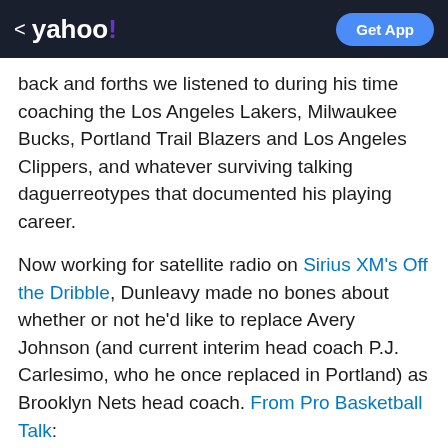< yahoo! | Get App
back and forths we listened to during his time coaching the Los Angeles Lakers, Milwaukee Bucks, Portland Trail Blazers and Los Angeles Clippers, and whatever surviving talking daguerreotypes that documented his playing career.
Now working for satellite radio on Sirius XM's Off the Dribble, Dunleavy made no bones about whether or not he'd like to replace Avery Johnson (and current interim head coach P.J. Carlesimo, who he once replaced in Portland) as Brooklyn Nets head coach. From Pro Basketball Talk:
[Figure (photo): Dark sci-fi advertisement banner with blue and pink laser light effects on a black background. Shows 'Ad' label and 'Scroll to continue with content' text.]